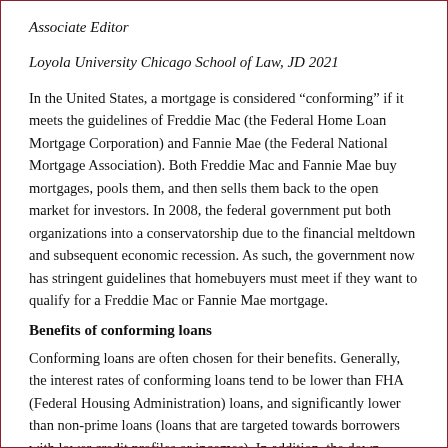Associate Editor
Loyola University Chicago School of Law, JD 2021
In the United States, a mortgage is considered “conforming” if it meets the guidelines of Freddie Mac (the Federal Home Loan Mortgage Corporation) and Fannie Mae (the Federal National Mortgage Association). Both Freddie Mac and Fannie Mae buy mortgages, pools them, and then sells them back to the open market for investors. In 2008, the federal government put both organizations into a conservatorship due to the financial meltdown and subsequent economic recession. As such, the government now has stringent guidelines that homebuyers must meet if they want to qualify for a Freddie Mac or Fannie Mae mortgage.
Benefits of conforming loans
Conforming loans are often chosen for their benefits. Generally, the interest rates of conforming loans tend to be lower than FHA (Federal Housing Administration) loans, and significantly lower than non-prime loans (loans that are targeted towards borrowers with lower credit profiles or incomes). In addition, the down